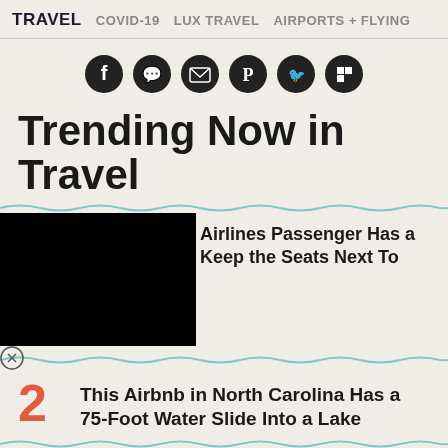TRAVEL   COVID-19   LUX TRAVEL   AIRPORTS + FLYING
[Figure (infographic): Six circular social share icons (Facebook, WhatsApp, Email, Pinterest, Twitter, Flipboard) in black circles arranged in a row]
Trending Now in Travel
Airlines Passenger Has a [strategy to] Keep the Seats Next To [them empty]
2 This Airbnb in North Carolina Has a 75-Foot Water Slide Into a Lake
3 AirFly Pro Is the Best $50 I've Ever Spent